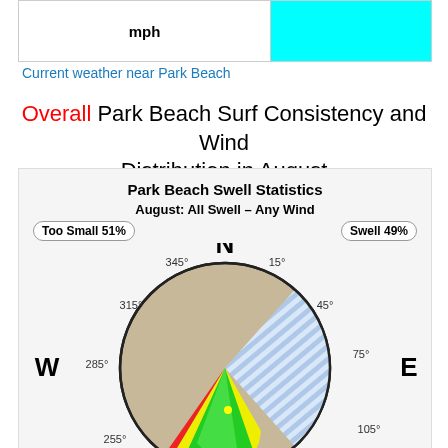| mph |  |
| --- | --- |
|   |   |
Current weather near Park Beach
Overall Park Beach Surf Consistency and Wind Distribution in August
[Figure (other): Park Beach Swell Statistics compass/wind rose diagram for August: All Swell – Any Wind. Shows Too Small 51% and Swell 49%. Compass with N/S/E/W and degree labels. The rose shows a colored wedge (green, yellow, red) centered around the south-southwest direction, with tan/beige filling most of the circle and blue diagonal stripes on the eastern side.]
Park Beach Swell Statistics August: All Swell – Any Wind. Too Small 51%, Swell 49%